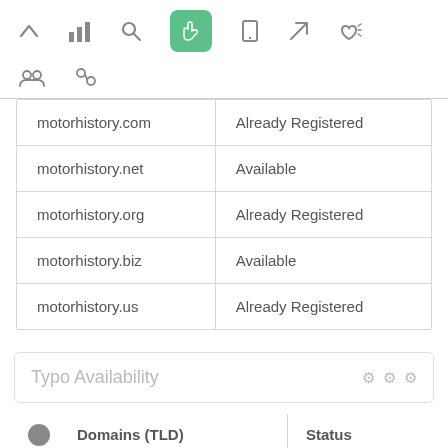[Figure (screenshot): Top navigation toolbar with icons: up arrow, bar chart, search, hand pointer (active/green), mobile, send/navigate, thumbs up. Second row: people group icon, chain/link icon.]
| motorhistory.com | Already Registered |
| motorhistory.net | Available |
| motorhistory.org | Already Registered |
| motorhistory.biz | Available |
| motorhistory.us | Already Registered |
Typo Availability
| Domains (TLD) | Status |
| --- | --- |